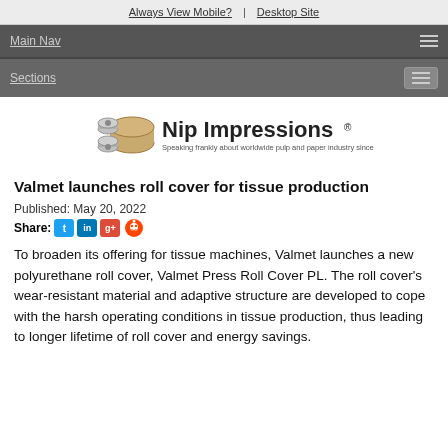Always View Mobile?  |  Desktop Site
Main Nav
Sections
[Figure (logo): Nip Impressions logo with paper rolls illustration and tagline: Speaking frankly about worldwide pulp and paper industry since 2001]
Valmet launches roll cover for tissue production
Published: May 20, 2022
Share:
To broaden its offering for tissue machines, Valmet launches a new polyurethane roll cover, Valmet Press Roll Cover PL. The roll cover's wear-resistant material and adaptive structure are developed to cope with the harsh operating conditions in tissue production, thus leading to longer lifetime of roll cover and energy savings.